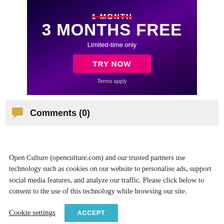[Figure (illustration): Advertisement banner with dark purple gradient background. Shows '1 MONTH' crossed out in red strikethrough, '3 MONTHS FREE' in large white bold text, 'Limited-time only' subtitle, a pink 'TRY NOW' button, and 'Terms apply' text at the bottom.]
Comments (0)
Open Culture (openculture.com) and our trusted partners use technology such as cookies on our website to personalise ads, support social media features, and analyze our traffic. Please click below to consent to the use of this technology while browsing our site.
Cookie settings   ACCEPT